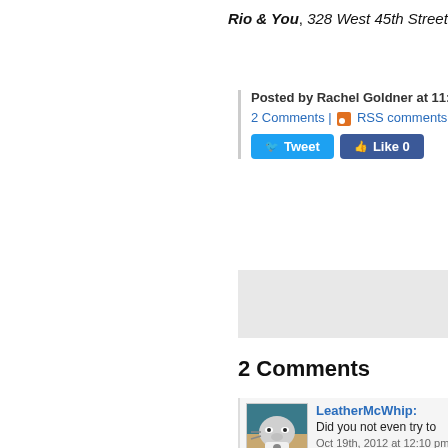Rio & You, 328 West 45th Street (bt
Posted by Rachel Goldner at 11:30
2 Comments | RSS comments fe
[Figure (screenshot): Tweet and Like 0 social share buttons]
[Figure (screenshot): Gray advertisement or content placeholder box]
2 Comments
LeatherMcWhip: Did you not even try to
Oct 19th, 2012 at 12:10 pm
ceh: You got the round eye